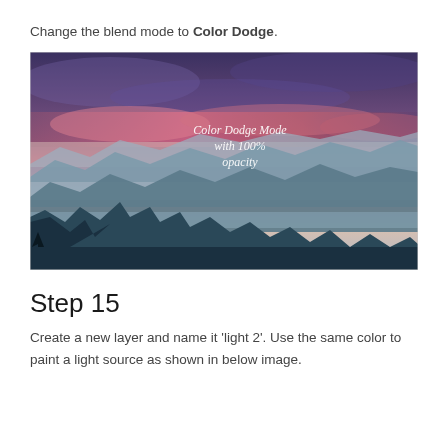Change the blend mode to Color Dodge.
[Figure (photo): A mountain landscape photo with a dramatic sunset sky showing purple and pink clouds above misty blue mountain peaks. White italic text overlay reads: 'Color Dodge Mode with 100% opacity']
Step 15
Create a new layer and name it 'light 2'. Use the same color to paint a light source as shown in below image.